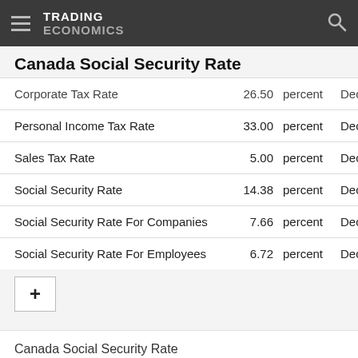TRADING ECONOMICS
Canada Social Security Rate
|  | Value | Unit | Date |
| --- | --- | --- | --- |
| Corporate Tax Rate | 26.50 | percent | Dec 2 |
| Personal Income Tax Rate | 33.00 | percent | Dec 2 |
| Sales Tax Rate | 5.00 | percent | Dec 2 |
| Social Security Rate | 14.38 | percent | Dec 2 |
| Social Security Rate For Companies | 7.66 | percent | Dec 2 |
| Social Security Rate For Employees | 6.72 | percent | Dec 2 |
+
Canada Social Security Rate